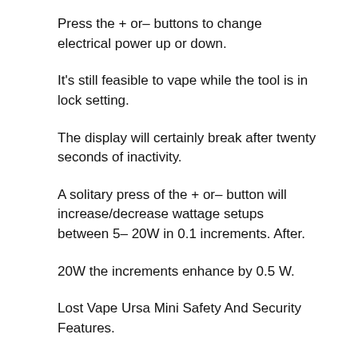Press the + or– buttons to change electrical power up or down.
It's still feasible to vape while the tool is in lock setting.
The display will certainly break after twenty seconds of inactivity.
A solitary press of the + or– button will increase/decrease wattage setups between 5– 20W in 0.1 increments. After.
20W the increments enhance by 0.5 W.
Lost Vape Ursa Mini Safety And Security Features.
The Pursuit chipset consists of the adhering to security functions.